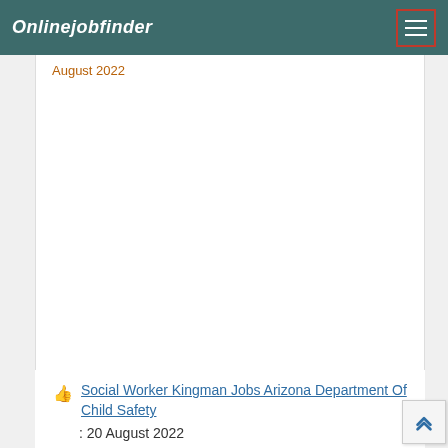Onlinejobfinder
August 2022
Social Worker Kingman Jobs Arizona Department Of Child Safety : 20 August 2022